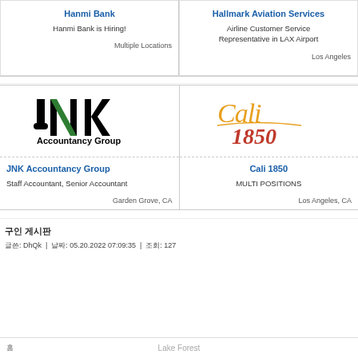Hanmi Bank
Hanmi Bank is Hiring!
Multiple Locations
Hallmark Aviation Services
Airline Customer Service Representative in LAX Airport
Los Angeles
[Figure (logo): JNK Accountancy Group logo with stylized letters J, N, K and text 'Accountancy Group']
JNK Accountancy Group
Staff Accountant, Senior Accountant
Garden Grove, CA
[Figure (logo): Cali 1850 logo with cursive orange 'Cali' and red '1850' text]
Cali 1850
MULTI POSITIONS
Los Angeles, CA
구인 게시판
글쓴: DhQk | 날짜: 05.20.2022 07:09:35 | 조회: 127
Lake Forest